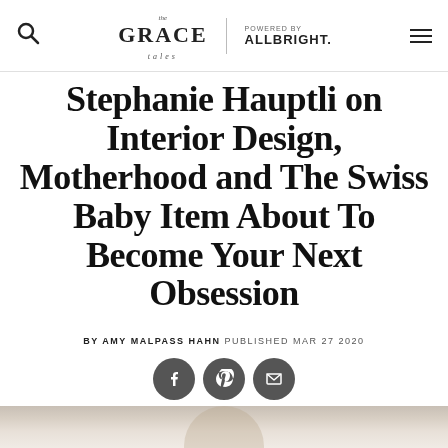The Grace Tales | POWERED BY ALLBRIGHT.
Stephanie Hauptli on Interior Design, Motherhood and The Swiss Baby Item About To Become Your Next Obsession
BY AMY MALPASS HAHN PUBLISHED MAR 27 2020
[Figure (infographic): Three social sharing icons: Facebook, Pinterest, and Email (envelope), displayed as white icons on dark grey circular backgrounds.]
[Figure (photo): Partial photograph of a family scene showing a woman lifting a laughing child in a yellow/mustard top, with another person visible below, against a light beige background.]